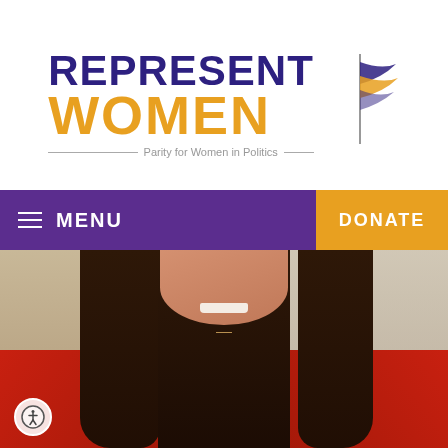[Figure (logo): RepresentWomen logo — 'REPRESENT' in dark purple bold uppercase, 'WOMEN' in orange bold uppercase, tagline 'Parity for Women in Politics' below with horizontal lines, and a stylized flag icon to the right]
MENU  |  DONATE
[Figure (photo): Portrait photograph of a young woman with long dark brown hair, smiling, wearing a red jacket, photographed from the chest up with a light background]